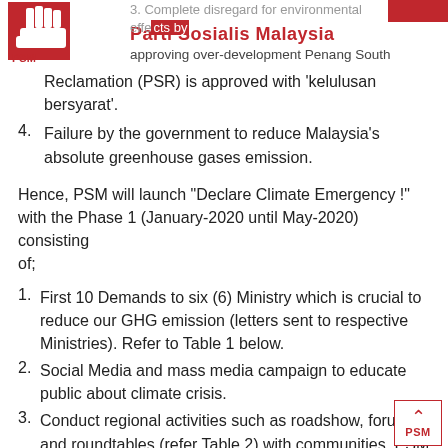3. Complete disregard for environmental effects by approving over-development Penang South Reclamation (PSR) is approved with 'kelulusan bersyarat'. | Parti Sosialis Malaysia
3. Reclamation (PSR) is approved with ‘kelulusan bersyarat’.
4. Failure by the government to reduce Malaysia's absolute greenhouse gases emission.
Hence, PSM will launch “Declare Climate Emergency !” with the Phase 1 (January-2020 until May-2020) consisting of;
1. First 10 Demands to six (6) Ministry which is crucial to reduce our GHG emission (letters sent to respective Ministries). Refer to Table 1 below.
2. Social Media and mass media campaign to educate public about climate crisis.
3. Conduct regional activities such as roadshow, forums and roundtables (refer Table 2) with communities, PSM branches, campuses and CSOs on GHG in: